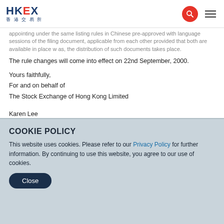HKEX 香港交易所
...appointing under the same listing rules in Chinese pre-approved with language sessions of the filing document, applicable from each other provided that both are available in place where as, the distribution of such documents takes place.
The rule changes will come into effect on 22nd September, 2000.
Yours faithfully,
For and on behalf of
The Stock Exchange of Hong Kong Limited
Karen Lee
Head of Listing, Regulation and Risk Management
COOKIE POLICY
This website uses cookies. Please refer to our Privacy Policy for further information. By continuing to use this website, you agree to our use of cookies.
Close